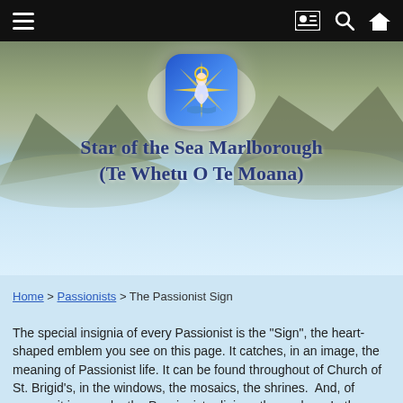Navigation bar with menu, profile, search, and home icons
[Figure (screenshot): Hero banner with mountain landscape background, misty clouds, a blue rounded square logo badge with a figure of Mary and a compass/star, and the site title 'Star of the Sea Marlborough (Te Whetu O Te Moana)' in blue bold text]
Star of the Sea Marlborough (Te Whetu O Te Moana)
Home > Passionists > The Passionist Sign
The special insignia of every Passionist is the "Sign", the heart-shaped emblem you see on this page. It catches, in an image, the meaning of Passionist life. It can be found throughout of Church of St. Brigid's, in the windows, the mosaics, the shrines.  And, of course, it is worn by the Passionist religious themselves. In the middle of the